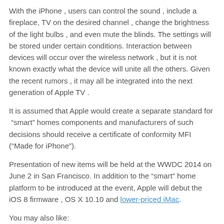With the iPhone , users can control the sound , include a fireplace, TV on the desired channel , change the brightness of the light bulbs , and even mute the blinds. The settings will be stored under certain conditions. Interaction between devices will occur over the wireless network , but it is not known exactly what the device will unite all the others. Given the recent rumors , it may all be integrated into the next generation of Apple TV .
It is assumed that Apple would create a separate standard for “smart” homes components and manufacturers of such decisions should receive a certificate of conformity MFI (“Made for iPhone”).
Presentation of new items will be held at the WWDC 2014 on June 2 in San Francisco. In addition to the “smart” home platform to be introduced at the event, Apple will debut the iOS 8 firmware , OS X 10.10 and lower-priced iMac.
You may also like:
Everything we know about the Apple iPhone 6